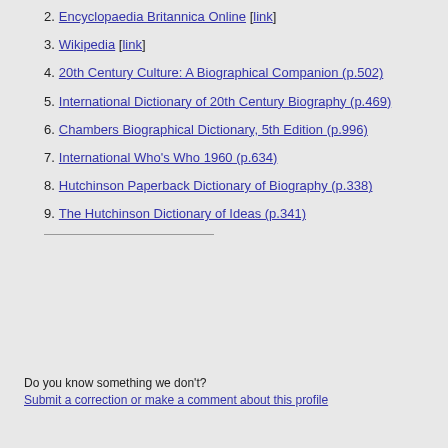2. Encyclopaedia Britannica Online [link]
3. Wikipedia [link]
4. 20th Century Culture: A Biographical Companion (p.502)
5. International Dictionary of 20th Century Biography (p.469)
6. Chambers Biographical Dictionary, 5th Edition (p.996)
7. International Who's Who 1960 (p.634)
8. Hutchinson Paperback Dictionary of Biography (p.338)
9. The Hutchinson Dictionary of Ideas (p.341)
Do you know something we don't?
Submit a correction or make a comment about this profile